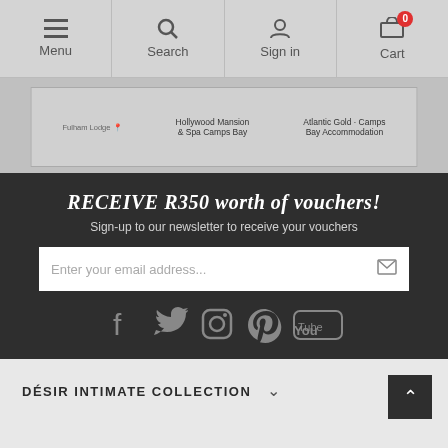Menu | Search | Sign in | Cart (0)
[Figure (map): Google Maps screenshot showing Camps Bay area with markers for Fulham Lodge, Hollywood Mansion & Spa Camps Bay, Atlantic Gold Camps Bay Accommodation, and Cape Rose Cottage Guest House]
RECEIVE R350 worth of vouchers!
Sign-up to our newsletter to receive your vouchers
Enter your email address...
[Figure (infographic): Social media icons: Facebook, Twitter, Instagram, Pinterest, YouTube]
DÉSIR INTIMATE COLLECTION